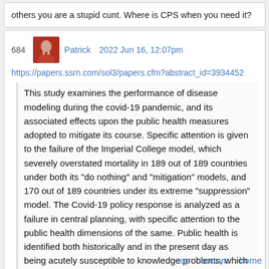others you are a stupid cunt. Where is CPS when you need it?
684  Patrick  2022 Jun 16, 12:07pm
https://papers.ssrn.com/sol3/papers.cfm?abstract_id=3934452
This study examines the performance of disease modeling during the covid-19 pandemic, and its associated effects upon the public health measures adopted to mitigate its course. Specific attention is given to the failure of the Imperial College model, which severely overstated mortality in 189 out of 189 countries under both its "do nothing" and "mitigation" models, and 170 out of 189 countries under its extreme "suppression" model. The Covid-19 policy response is analyzed as a failure in central planning, with specific attention to the public health dimensions of the same. Public health is identified both historically and in the present day as being acutely susceptible to knowledge problems, which in turn foster the condition choice trap that causes proposed policy m
top  bottom  home